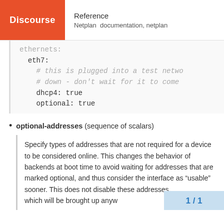Discourse | Reference | Netplan documentation, netplan
ethernets:
  eth7:
    # this is plugged into a test netwo
    # down - don't wait for it to come
    dhcp4: true
    optional: true
optional-addresses (sequence of scalars)
Specify types of addresses that are not required for a device to be considered online. This changes the behavior of backends at boot time to avoid waiting for addresses that are marked optional, and thus consider the interface as “usable” sooner. This does not disable these addresses, which will be brought up anyw